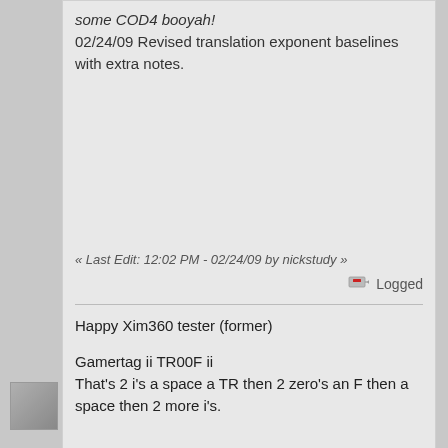some COD4 booyah!
02/24/09 Revised translation exponent baselines with extra notes.
« Last Edit: 12:02 PM - 02/24/09 by nickstudy »
Logged
Happy Xim360 tester (former)

Gamertag ii TR00F ii
That's 2 i's a space a TR then 2 zero's an F then a space then 2 more i's.
Re: Building your